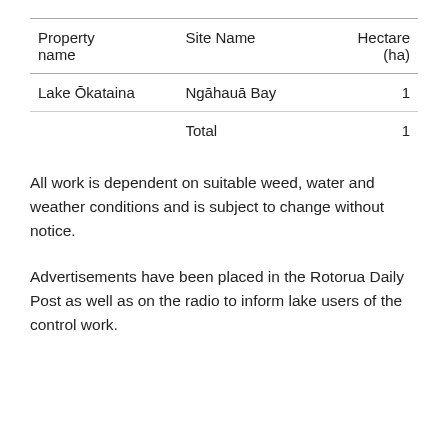| Property name | Site Name | Hectare (ha) |
| --- | --- | --- |
| Lake Ōkataina | Ngāhauā Bay | 1 |
|  | Total | 1 |
All work is dependent on suitable weed, water and weather conditions and is subject to change without notice.
Advertisements have been placed in the Rotorua Daily Post as well as on the radio to inform lake users of the control work.